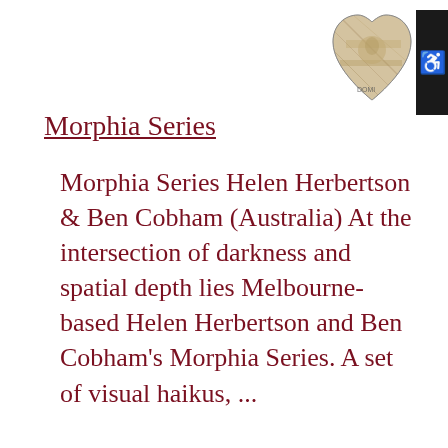[Figure (illustration): Heart-shaped image made of folded currency/money, with a small black box containing a white wheelchair accessibility icon in the bottom-right corner]
Morphia Series
Morphia Series Helen Herbertson & Ben Cobham (Australia) At the intersection of darkness and spatial depth lies Melbourne-based Helen Herbertson and Ben Cobham's Morphia Series. A set of visual haikus, ...